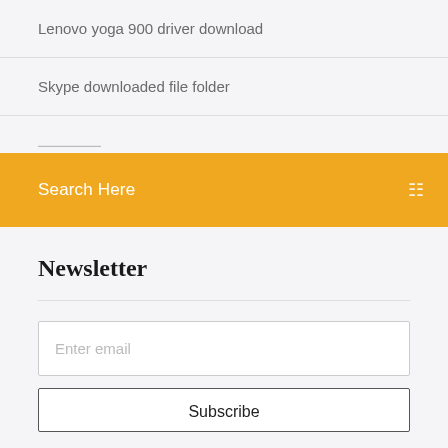Lenovo yoga 900 driver download
Skype downloaded file folder
Search Here
Newsletter
Enter email
Subscribe